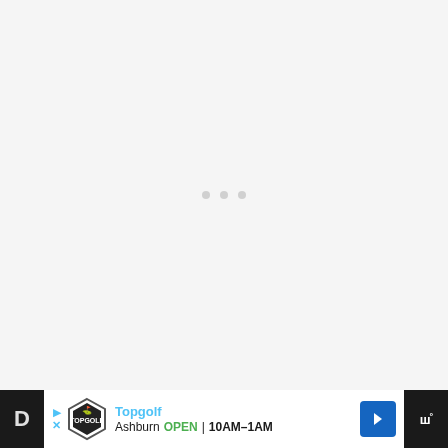[Figure (other): Loading screen with three grey dots centered on a light grey background]
[Figure (other): Bottom browser/app toolbar showing a dark left panel with 'D' letter, a Topgolf advertisement banner (showing Topgolf logo, 'Ashburn OPEN 10AM-1AM' with navigation arrow), and a dark right panel with 'W°' weather icon]